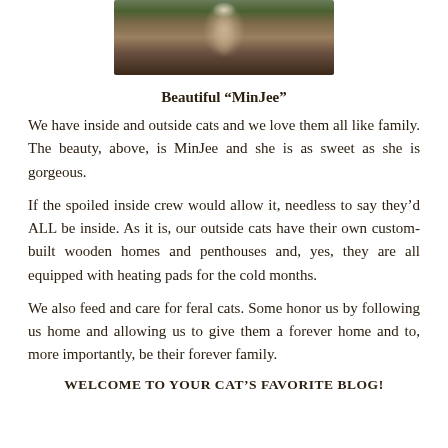[Figure (photo): A cat (MinJee) photographed outdoors sitting on what appears to be a log or stump, with green grass and leaves visible in the background. The cat has dark and light coloring.]
Beautiful “MinJee”
We have inside and outside cats and we love them all like family. The beauty, above, is MinJee and she is as sweet as she is gorgeous.
If the spoiled inside crew would allow it, needless to say they’d ALL be inside. As it is, our outside cats have their own custom-built wooden homes and penthouses and, yes, they are all equipped with heating pads for the cold months.
We also feed and care for feral cats. Some honor us by following us home and allowing us to give them a forever home and to, more importantly, be their forever family.
WELCOME TO YOUR CAT’S FAVORITE BLOG!